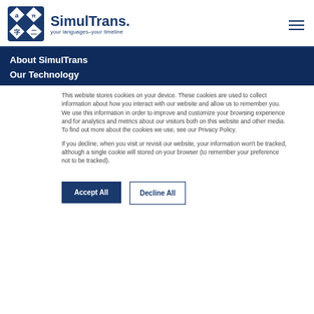[Figure (logo): SimulTrans logo with diamond shape containing letter symbols a, 字, π, and brand name 'SimulTrans.' with tagline 'your languages–your timeline']
About SimulTrans
Our Technology
This website stores cookies on your device. These cookies are used to collect information about how you interact with our website and allow us to remember you. We use this information in order to improve and customize your browsing experience and for analytics and metrics about our visitors both on this website and other media. To find out more about the cookies we use, see our Privacy Policy.
If you decline, when you visit or revisit our website, your information won't be tracked, although a single cookie will stored on your browser (to remember your preference not to be tracked).
Accept All
Decline All